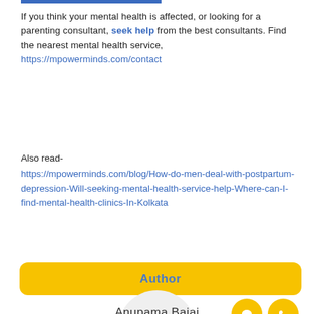If you think your mental health is affected, or looking for a parenting consultant, seek help from the best consultants. Find the nearest mental health service, https://mpowerminds.com/contact
Also read-
https://mpowerminds.com/blog/How-do-men-deal-with-postpartum-depression-Will-seeking-mental-health-service-help-Where-can-I-find-mental-health-clinics-In-Kolkata
Author
[Figure (logo): MPower Minds logo inside a circular avatar placeholder]
Anupama Bajaj